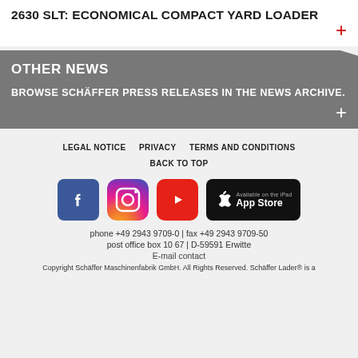2630 SLT: ECONOMICAL COMPACT YARD LOADER
OTHER NEWS
BROWSE SCHÄFFER PRESS RELEASES IN THE NEWS ARCHIVE.
LEGAL NOTICE   PRIVACY   TERMS AND CONDITIONS   BACK TO TOP
[Figure (logo): Social media icons: Facebook, Instagram, YouTube, and Apple App Store badge]
phone +49 2943 9709-0 | fax +49 2943 9709-50
post office box 10 67 | D-59591 Erwitte
E-mail contact
Copyright Schäffer Maschinenfabrik GmbH. All Rights Reserved. Schäffer Lader® is a